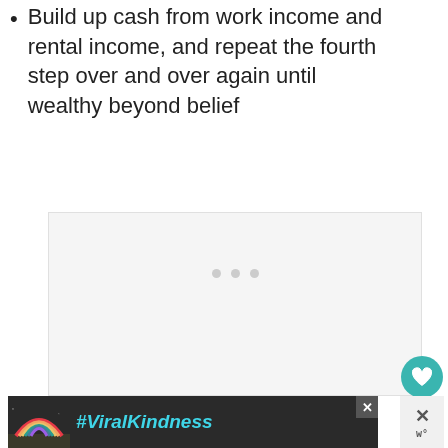Build up cash from work income and rental income, and repeat the fourth step over and over again until wealthy beyond belief
[Figure (other): A loading/placeholder content box with three grey dots indicating loading state]
[Figure (other): Social engagement buttons: teal heart/like button, count of 2, and share button on the right side]
[Figure (other): Advertisement banner with dark background showing a rainbow drawing and #ViralKindness hashtag text, with a close (X) button]